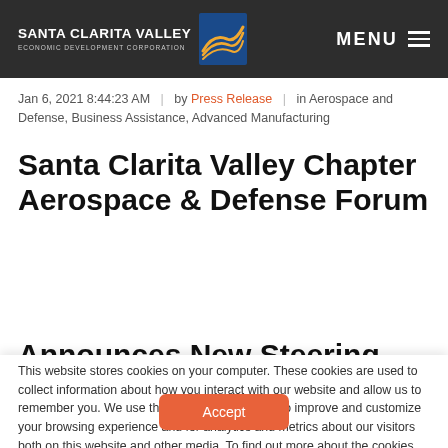SANTA CLARITA VALLEY ECONOMIC DEVELOPMENT CORPORATION | MENU
Jan 6, 2021 8:44:23 AM | by Press Release | in Aerospace and Defense, Business Assistance, Advanced Manufacturing
Santa Clarita Valley Chapter Aerospace & Defense Forum
This website stores cookies on your computer. These cookies are used to collect information about how you interact with our website and allow us to remember you. We use this information in order to improve and customize your browsing experience and for analytics and metrics about our visitors both on this website and other media. To find out more about the cookies we use, see our Privacy Policy.
Accept